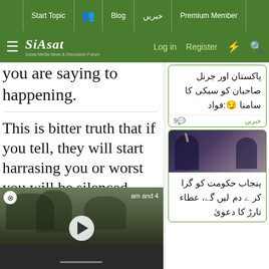Start Topic | Blog | خبریں | Premium Member | Log in | Register
[Figure (logo): Siasat.pk logo - Social Media News & Discussion Forum]
you are saying to happening.
This is bitter truth that if you tell, they will start harrasing you or worst you will be silenced.
[Figure (screenshot): Video player showing a street scene, with play button overlay]
am and 4
پاکستان اور جرنل صاحبان کو سبکی کا سامنا 😏:فواد
خبریں | 9
[Figure (photo): Two men in suits at a press conference]
پنجاب حکومت کو گرا کر ے دم لیں گے، عطاء تارڑ کا دعویٰ